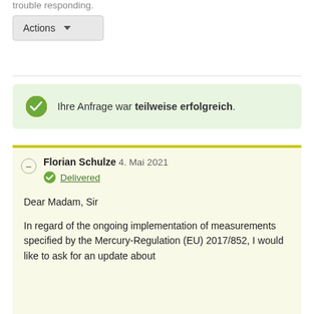trouble responding.
[Figure (screenshot): Actions dropdown button with gray background and downward arrow]
Ihre Anfrage war teilweise erfolgreich.
Florian Schulze 4. Mai 2021
Delivered

Dear Madam, Sir

In regard of the ongoing implementation of measurements specified by the Mercury-Regulation (EU) 2017/852, I would like to ask for an update about